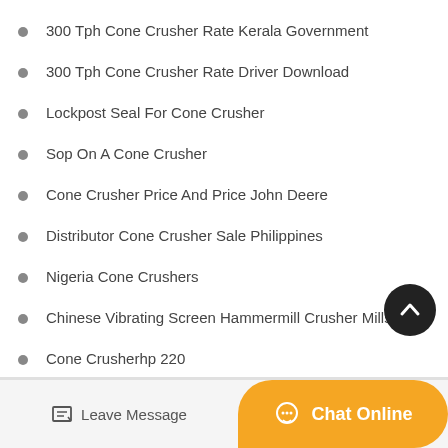300 Tph Cone Crusher Rate Kerala Government
300 Tph Cone Crusher Rate Driver Download
Lockpost Seal For Cone Crusher
Sop On A Cone Crusher
Cone Crusher Price And Price John Deere
Distributor Cone Crusher Sale Philippines
Nigeria Cone Crushers
Chinese Vibrating Screen Hammermill Crusher Mills Cone
Cone Crusherhp 220
[Figure (other): Back to top button - dark circular button with upward chevron]
Leave Message  Chat Online